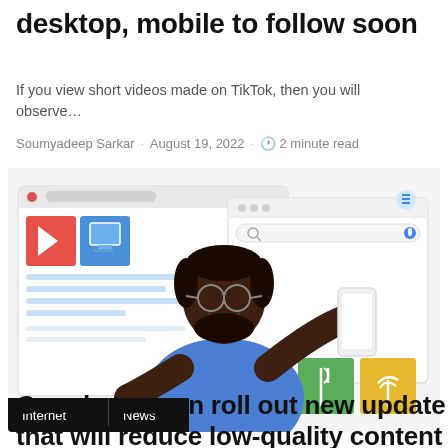desktop, mobile to follow soon
If you view short videos made on TikTok, then you will observe…
Soumyadeep Sarkar · August 19, 2022 · 🕐 2 minute read
[Figure (illustration): Illustration of a person in a blue shirt holding a smartphone, surrounded by browser/search interface mockups showing video thumbnails and search results. Two category tags 'Internet' and 'News' appear at the bottom left of the image.]
Google to soon roll out new update that will reduce low-quality content appearance on